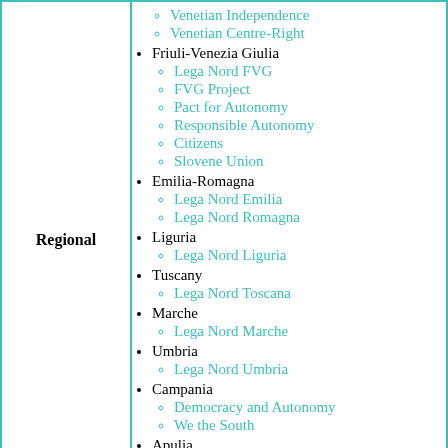| Regional | Sub-regions and parties |
| --- | --- |
| Regional | Venetian Independence, Venetian Centre-Right, Friuli-Venezia Giulia, Lega Nord FVG, FVG Project, Pact for Autonomy, Responsible Autonomy, Citizens, Slovene Union, Emilia-Romagna, Lega Nord Emilia, Lega Nord Romagna, Liguria, Lega Nord Liguria, Tuscany, Lega Nord Toscana, Marche, Lega Nord Marche, Umbria, Lega Nord Umbria, Campania, Democracy and Autonomy, We the South, Apulia, Schittulli Political Movement |